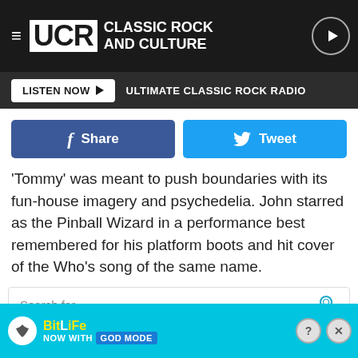UCR Classic Rock and Culture — LISTEN NOW — ULTIMATE CLASSIC ROCK RADIO
Share  Tweet
'Tommy' was meant to push boundaries with its fun-house imagery and psychedelia. John starred as the Pinball Wizard in a performance best remembered for his platform boots and hit cover of the Who's song of the same name.
Search for
1. 10 Best Stocks To Buy
[Figure (screenshot): BitLife advertisement banner — NOW WITH GOD MODE]